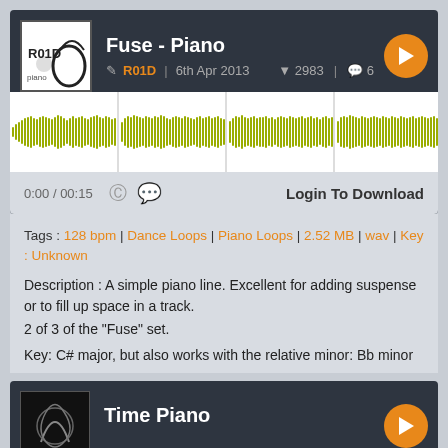Fuse - Piano
R01D | 6th Apr 2013 | 2983 | 6
[Figure (other): Audio waveform visualization showing a piano loop. Yellow-green waveform on white background with three vertical time markers.]
0:00 / 00:15   Login To Download
Tags : 128 bpm | Dance Loops | Piano Loops | 2.52 MB | wav | Key : Unknown
Description : A simple piano line. Excellent for adding suspense or to fill up space in a track.
2 of 3 of the "Fuse" set.

Key: C# major, but also works with the relative minor: Bb minor
Time Piano